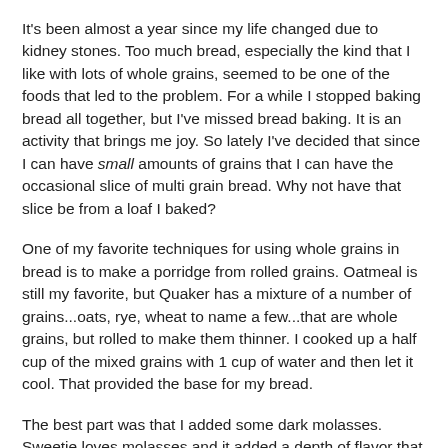It's been almost a year since my life changed due to kidney stones. Too much bread, especially the kind that I like with lots of whole grains, seemed to be one of the foods that led to the problem. For a while I stopped baking bread all together, but I've missed bread baking. It is an activity that brings me joy. So lately I've decided that since I can have small amounts of grains that I can have the occasional slice of multi grain bread. Why not have that slice be from a loaf I baked?
One of my favorite techniques for using whole grains in bread is to make a porridge from rolled grains. Oatmeal is still my favorite, but Quaker has a mixture of a number of grains...oats, rye, wheat to name a few...that are whole grains, but rolled to make them thinner. I cooked up a half cup of the mixed grains with 1 cup of water and then let it cool. That provided the base for my bread.
The best part was that I added some dark molasses. Sweetie loves molasses and it added a depth of flavor that goes well with these grains. I think the little yeasties like it